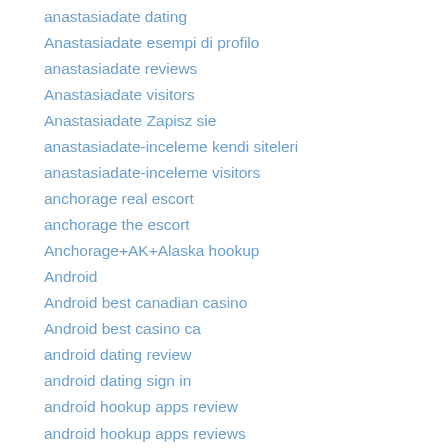anastasiadate dating
Anastasiadate esempi di profilo
anastasiadate reviews
Anastasiadate visitors
Anastasiadate Zapisz sie
anastasiadate-inceleme kendi siteleri
anastasiadate-inceleme visitors
anchorage real escort
anchorage the escort
Anchorage+AK+Alaska hookup
Android
Android best canadian casino
Android best casino ca
android dating review
android dating sign in
android hookup apps review
android hookup apps reviews